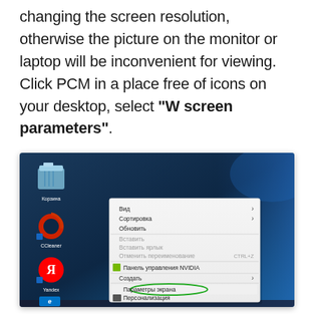changing the screen resolution, otherwise the picture on the monitor or laptop will be inconvenient for viewing. Click PCM in a place free of icons on your desktop, select "W screen parameters".
[Figure (screenshot): Windows 10 desktop screenshot showing a right-click context menu with Russian language options. The menu items include: Вид (with arrow), Сортировка (with arrow), Обновить, Вставить (greyed), Вставить ярлык (greyed), Отменить переименование with CTRL+Z shortcut (greyed), Панель управления NVIDIA, Создать (with arrow), Параметры экрана (highlighted with green oval), Персонализация. Desktop icons visible: Корзина (Recycle Bin), CCleaner, Yandex browser, Microsoft Edge.]